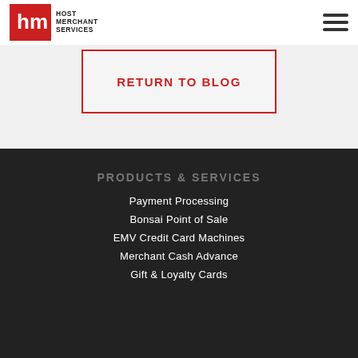[Figure (logo): Host Merchant Services logo — red square with white HMS letters, followed by HOST MERCHANT SERVICES text]
RETURN TO BLOG
PRODUCTS & SERVICES
Payment Processing
Bonsai Point of Sale
EMV Credit Card Machines
Merchant Cash Advance
Gift & Loyalty Cards